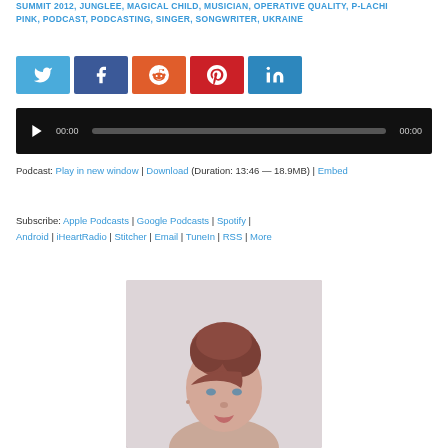SUMMIT 2012, JUNGLEE, MAGICAL CHILD, MUSICIAN, OPERATIVE QUALITY, P-LACHI PINK, PODCAST, PODCASTING, SINGER, SONGWRITER, UKRAINE
[Figure (infographic): Social sharing buttons: Twitter (light blue), Facebook (dark blue), Reddit (orange), Pinterest (red), LinkedIn (medium blue)]
[Figure (screenshot): Audio player with black background, play button, 00:00 timestamp, progress bar, and 00:00 end timestamp]
Podcast: Play in new window | Download (Duration: 13:46 — 18.9MB) | Embed
Subscribe: Apple Podcasts | Google Podcasts | Spotify | Android | iHeartRadio | Stitcher | Email | TuneIn | RSS | More
[Figure (photo): Portrait photo of a woman with reddish-brown hair in a bun, looking slightly to the side, on a light background]